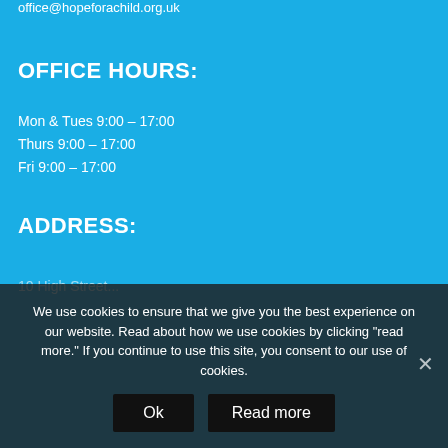office@hopeforachild.org.uk
OFFICE HOURS:
Mon & Tues 9:00 – 17:00
Thurs 9:00 – 17:00
Fri 9:00 – 17:00
ADDRESS:
10 High Street...
We use cookies to ensure that we give you the best experience on our website. Read about how we use cookies by clicking "read more." If you continue to use this site, you consent to our use of cookies.